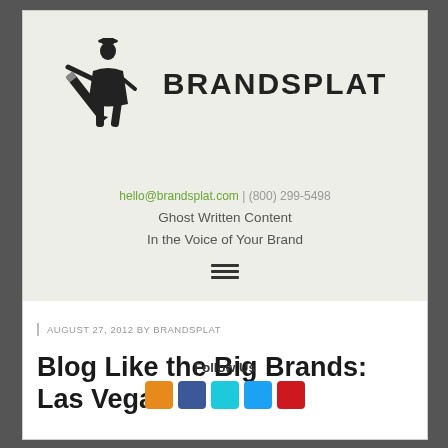[Figure (logo): Brandsplat logo: man in suit holding giant pen, with text BRANDSPLAT]
hello@brandsplat.com | (800) 299-5498
Ghost Written Content
In the Voice of Your Brand
AUGUST 27, 2012 BY BRANDSPLAT
Blog Like the Big Brands: Las Vegas
Follow Us
[Figure (illustration): Social media icons: RSS (orange), Facebook (blue), Tumblr (blue), Twitter (blue), YouTube (red)]